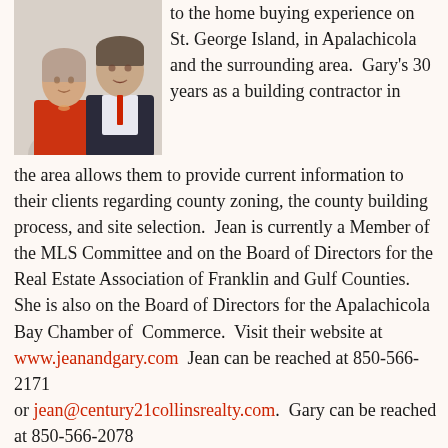[Figure (photo): Photo of a smiling woman in a red jacket and a man in a dark suit, standing together]
to the home buying experience on St. George Island, in Apalachicola and the surrounding area.  Gary's 30 years as a building contractor in the area allows them to provide current information to their clients regarding county zoning, the county building process, and site selection.  Jean is currently a Member of the MLS Committee and on the Board of Directors for the Real Estate Association of Franklin and Gulf Counties. She is also on the Board of Directors for the Apalachicola Bay Chamber of  Commerce.  Visit their website at www.jeanandgary.com  Jean can be reached at 850-566-2171 or jean@century21collinsrealty.com.  Gary can be reached at 850-566-2078 or gary@century21collinsrealty.com.